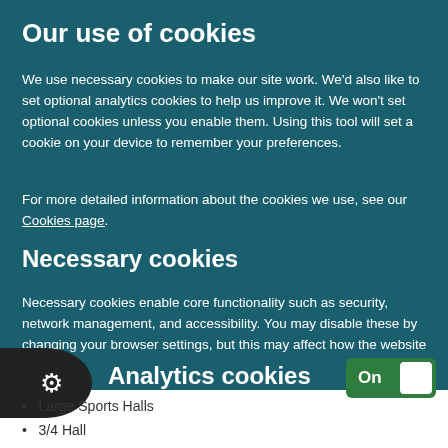Our use of cookies
We use necessary cookies to make our site work. We'd also like to set optional analytics cookies to help us improve it. We won't set optional cookies unless you enable them. Using this tool will set a cookie on your device to remember your preferences.
For more detailed information about the cookies we use, see our Cookies page.
Necessary cookies
Necessary cookies enable core functionality such as security, network management, and accessibility. You may disable these by changing your browser settings, but this may affect how the website functions.
Analytics cookies
Large Sports Halls
3/4 Hall